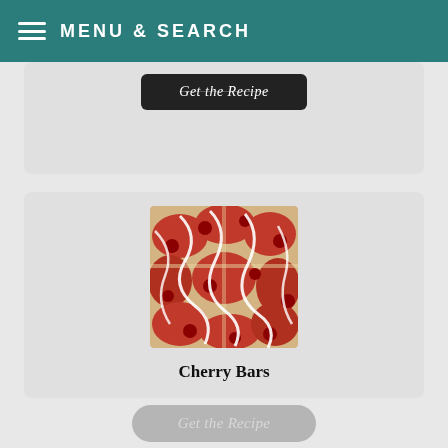MENU & SEARCH
[Figure (screenshot): Partially visible previous recipe card with a dark 'Get the Recipe' button]
[Figure (photo): Cherry bars dessert — square cookie bars topped with cherry pie filling and drizzled with white vanilla glaze]
Cherry Bars
These cherry bars are a soft cookie crust topped with cherry pie filling, more cookie dough and a drizzle of vanilla glaze. An easy and impressive dessert that's perfect to feed a crowd!
Get the Recipe